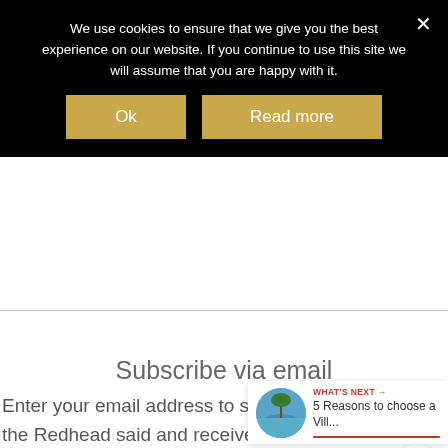We use cookies to ensure that we give you the best experience on our website. If you continue to use this site we will assume that you are happy with it.
Ok
Read more
Subscribe via email
Enter your email address to subscribe to What the Redhead said and receive notifications of new posts by email
[Figure (screenshot): What's Next widget with a circular photo of a beach/palm tree scene and text '5 Reasons to choose a Vill...']